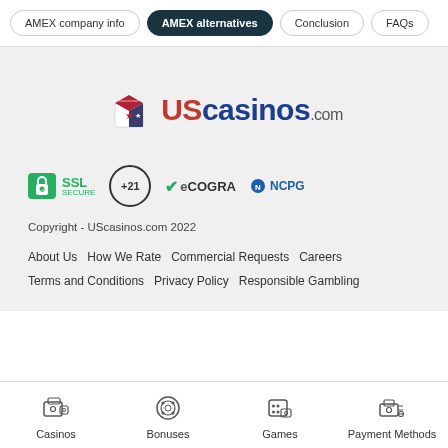AMEX company info | AMEX alternatives | Conclusion | FAQs
[Figure (logo): UScasinos.com logo with US flag dice icon]
[Figure (infographic): Trust badges: SSL Secure, +21, eCOGRA, NCPG]
Copyright - UScasinos.com 2022
About Us   How We Rate   Commercial Requests   Careers   Terms and Conditions   Privacy Policy   Responsible Gambling
Casinos   Bonuses   Games   Payment Methods